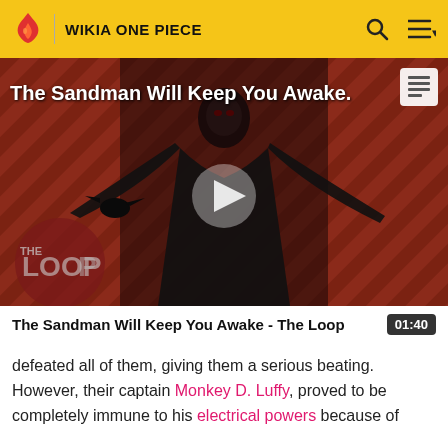WIKIA ONE PIECE
[Figure (screenshot): Video thumbnail for 'The Sandman Will Keep You Awake - The Loop' showing a dark-cloaked figure against a diagonal striped red/dark background with THE LOOP watermark and a play button overlay]
The Sandman Will Keep You Awake - The Loop  01:40
defeated all of them, giving them a serious beating. However, their captain Monkey D. Luffy, proved to be completely immune to his electrical powers because of